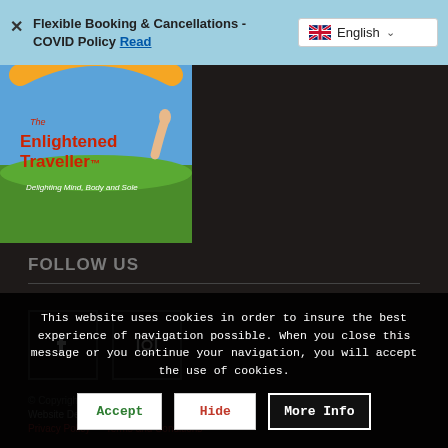Flexible Booking & Cancellations - COVID Policy Read
[Figure (logo): The Enlightened Traveller logo with text 'Delighting Mind, Body and Sole' on green grass background]
FOLLOW US
[Figure (illustration): Facebook icon in a dark square border]
[Figure (illustration): Instagram icon in a dark square border]
© Copyright ...
Website Design ...
Privacy Policy | Terms and Conditions
This website uses cookies in order to insure the best experience of navigation possible. When you close this message or you continue your navigation, you will accept the use of cookies.